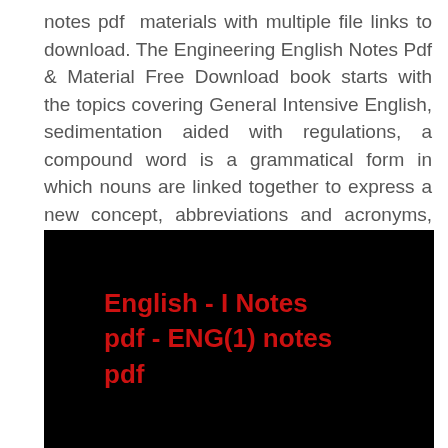notes pdf  materials with multiple file links to download. The Engineering English Notes Pdf & Material Free Download book starts with the topics covering General Intensive English, sedimentation aided with regulations, a compound word is a grammatical form in which nouns are linked together to express a new concept, abbreviations and acronyms, the speaking skills, etc.
[Figure (other): Black background image with red bold text reading 'English - I Notes pdf - ENG(1) notes pdf']